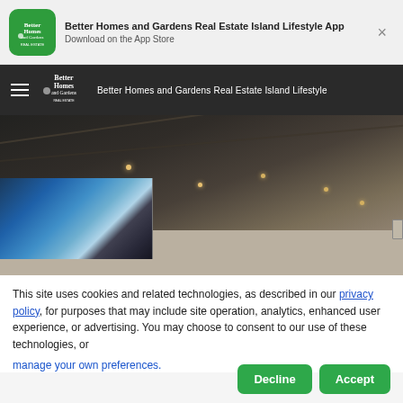[Figure (screenshot): App store banner with Better Homes and Gardens Real Estate Island Lifestyle App logo and download prompt]
Better Homes and Gardens Real Estate Island Lifestyle App
Download on the App Store
[Figure (screenshot): Navigation bar with hamburger menu, Better Homes and Gardens Real Estate logo, and site name]
Better Homes and Gardens Real Estate Island Lifestyle
[Figure (photo): Interior room photo showing dark ceiling with track lighting and a blue abstract artwork on the left wall]
This site uses cookies and related technologies, as described in our privacy policy, for purposes that may include site operation, analytics, enhanced user experience, or advertising. You may choose to consent to our use of these technologies, or manage your own preferences.